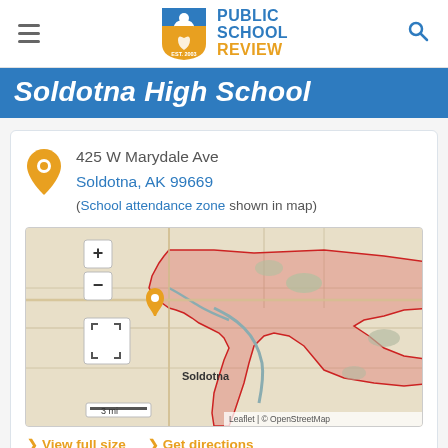Public School Review EST. 2003
Soldotna High School
425 W Marydale Ave
Soldotna, AK 99669
(School attendance zone shown in map)
[Figure (map): Leaflet map showing the school attendance zone boundary for Soldotna High School in Soldotna, AK. The zone is outlined and filled in red/pink, showing a large area east of Soldotna. A zoom control (+/-) and a fullscreen button are visible in the upper left. A scale bar showing 3 mi is at the bottom left. Attribution reads: Leaflet | © OpenStreetMap]
> View full size   > Get directions